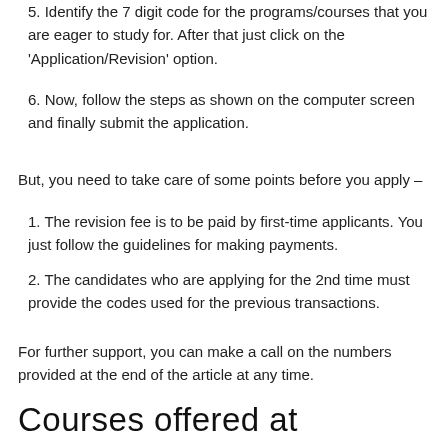5. Identify the 7 digit code for the programs/courses that you are eager to study for. After that just click on the 'Application/Revision' option.
6. Now, follow the steps as shown on the computer screen and finally submit the application.
But, you need to take care of some points before you apply –
1. The revision fee is to be paid by first-time applicants. You just follow the guidelines for making payments.
2. The candidates who are applying for the 2nd time must provide the codes used for the previous transactions.
For further support, you can make a call on the numbers provided at the end of the article at any time.
Courses offered at KUCCPS